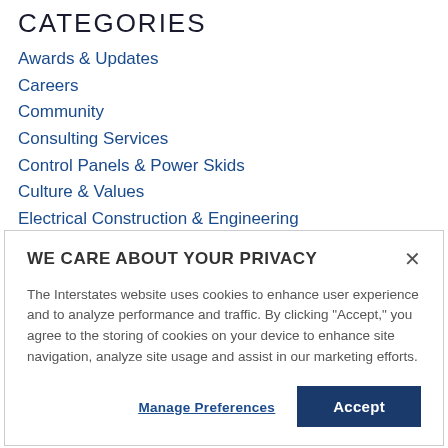CATEGORIES
Awards & Updates
Careers
Community
Consulting Services
Control Panels & Power Skids
Culture & Values
Electrical Construction & Engineering
Industrial Automation & Integration
WE CARE ABOUT YOUR PRIVACY
The Interstates website uses cookies to enhance user experience and to analyze performance and traffic. By clicking "Accept," you agree to the storing of cookies on your device to enhance site navigation, analyze site usage and assist in our marketing efforts.
Manage Preferences
Accept